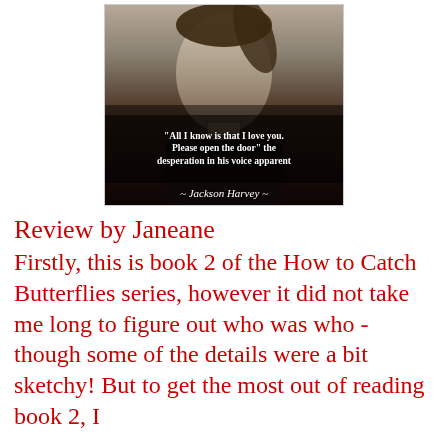[Figure (illustration): Book cover image showing a black and white photo of a young man looking downward with a quote overlay: '"All I know is that I love you. Please open the door" the desperation in his voice apparent ~ Jackson Harvey ~']
Review by Janeane
Firstly, this is book 2 of the How to Catch Butterflies series, however it did not take me long to figure out who was who - though some of the details were a bit sketchy! But to get the most out of reading book 2, I would recommend reading book 1 first.